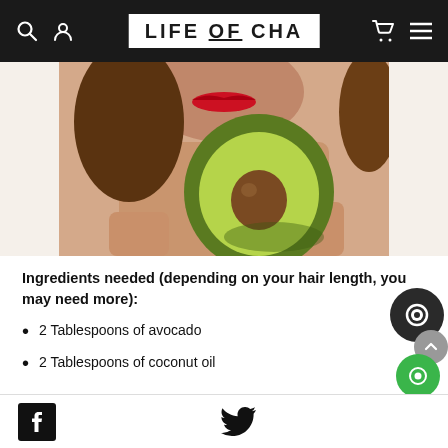LIFE OF CHA
[Figure (photo): Woman with red lips holding a halved avocado showing the pit, close-up beauty/lifestyle photo]
Ingredients needed (depending on your hair length, you may need more):
2 Tablespoons of avocado
2 Tablespoons of coconut oil
Facebook and Twitter social share icons